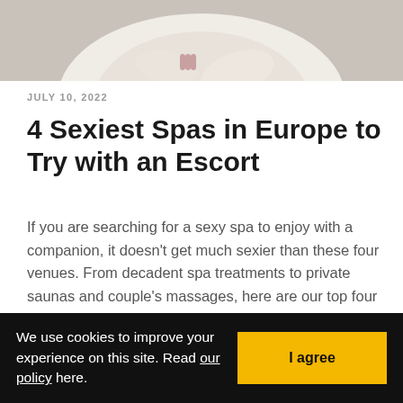[Figure (photo): Photo of person in white bathrobe, cropped showing torso and hands]
JULY 10, 2022
4 Sexiest Spas in Europe to Try with an Escort
If you are searching for a sexy spa to enjoy with a companion, it doesn't get much sexier than these four venues. From decadent spa treatments to private saunas and couple's massages, here are our top four recommended sexiest spas in
We use cookies to improve your experience on this site. Read our policy here.
I agree